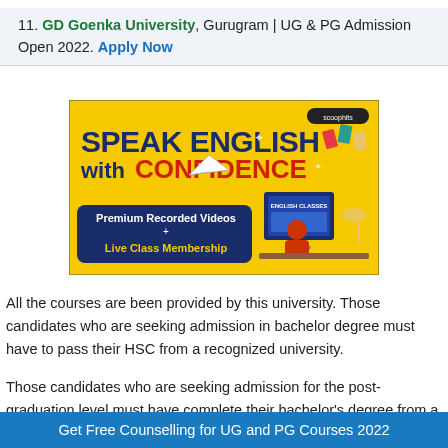11. GD Goenka University, Gurugram | UG & PG Admission Open 2022. Apply Now
[Figure (illustration): Advertisement banner: 'SPEAK ENGLISH with CONFIDENCE – Premium Recorded Videos + Live Class Membership' showing a student at a computer with English class materials]
All the courses are been provided by this university. Those candidates who are seeking admission in bachelor degree must have to pass their HSC from a recognized university.
Those candidates who are seeking admission for the post-graduation level must have complete their bachelor's degree from a recognized
Get Free Counselling for UG and PG Courses 2022